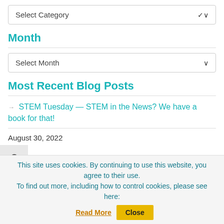[Figure (screenshot): Dropdown selector showing 'Select Category' with a chevron arrow]
Month
[Figure (screenshot): Dropdown selector showing 'Select Month' with a chevron arrow]
Most Recent Blog Posts
→ STEM Tuesday — STEM in the News? We have a book for that!
August 30, 2022
This site uses cookies. By continuing to use this website, you agree to their use.
To find out more, including how to control cookies, please see here: Read More
Close